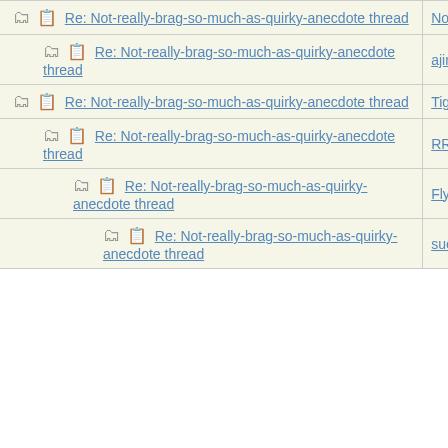| Subject | Author |
| --- | --- |
| Re: Not-really-brag-so-much-as-quirky-anecdote thread | NotherBe |
| Re: Not-really-brag-so-much-as-quirky-anecdote thread | ajinlove |
| Re: Not-really-brag-so-much-as-quirky-anecdote thread | Tigerle |
| Re: Not-really-brag-so-much-as-quirky-anecdote thread | RRD |
| Re: Not-really-brag-so-much-as-quirky-anecdote thread | Flyingmo |
| Re: Not-really-brag-so-much-as-quirky-anecdote thread | suevv |